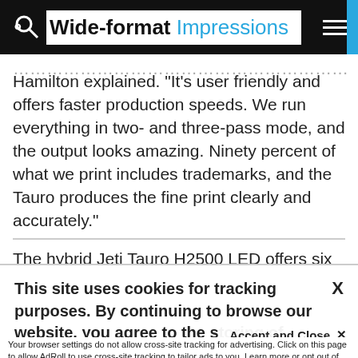Wide-format Impressions
Hamilton explained. “It’s user friendly and offers faster production speeds. We run everything in two- and three-pass mode, and the output looks amazing. Ninety percent of what we print includes trademarks, and the Tauro produces the fine print clearly and accurately.”
The hybrid Jeti Tauro H2500 LED offers six colors
This site uses cookies for tracking purposes. By continuing to browse our website, you agree to the storing of first- and third-party cookies on your device to enhance site navigation, analyze site
usage, and assist in our marketing and
Accept and Close ×
Your browser settings do not allow cross-site tracking for advertising. Click on this page to allow AdRoll to use cross-site tracking to tailor ads to you. Learn more or opt out of this AdRoll tracking by clicking here. This message only appears once.